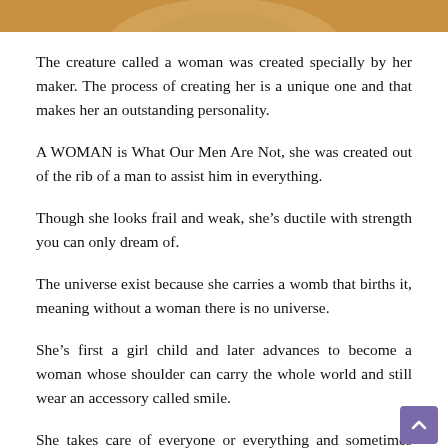[Figure (photo): Partial photo of a woman, cropped at top, showing chin/neck area against golden/yellow background]
The creature called a woman was created specially by her maker. The process of creating her is a unique one and that makes her an outstanding personality.
A WOMAN is What Our Men Are Not, she was created out of the rib of a man to assist him in everything.
Though she looks frail and weak, she’s ductile with strength you can only dream of.
The universe exist because she carries a womb that births it, meaning without a woman there is no universe.
She’s first a girl child and later advances to become a woman whose shoulder can carry the whole world and still wear an accessory called smile.
She takes care of everyone or everything and sometimes forgets to take care of herself.